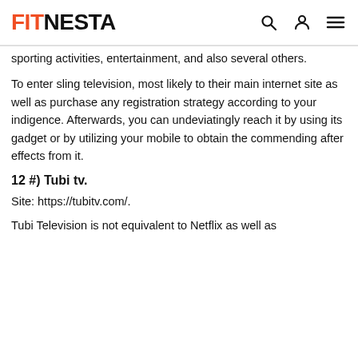FITNESTA
sporting activities, entertainment, and also several others.
To enter sling television, most likely to their main internet site as well as purchase any registration strategy according to your indigence. Afterwards, you can undeviatingly reach it by using its gadget or by utilizing your mobile to obtain the commending after effects from it.
12 #) Tubi tv.
Site: https://tubitv.com/.
Tubi Television is not equivalent to Netflix as well as